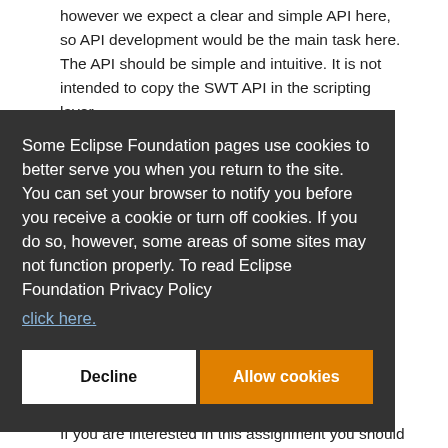however we expect a clear and simple API here, so API development would be the main task here. The API should be simple and intuitive. It is not intended to copy the SWT API in the scripting layer.
If you are interested in this topic you should provide an abstract of the planned API on the mailing list 🔒
Some Eclipse Foundation pages use cookies to better serve you when you return to the site. You can set your browser to notify you before you receive a cookie or turn off cookies. If you do so, however, some areas of some sites may not function properly. To read Eclipse Foundation Privacy Policy click here.
Decline
Allow cookies
If you are interested in this assignment you should